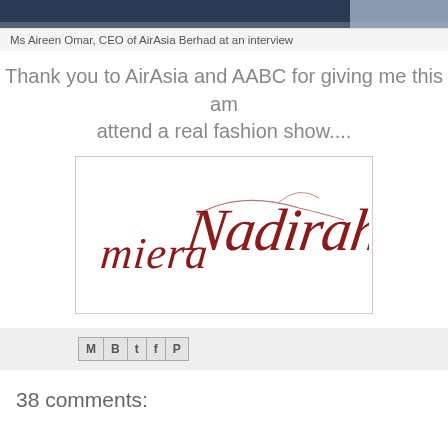[Figure (photo): Partial photo of Ms Aireen Omar, CEO of AirAsia Berhad, at an interview — cropped, showing clothing/background]
Ms Aireen Omar, CEO of AirAsia Berhad at an interview
Thank you to AirAsia and AABC for giving me this am attend a real fashion show....
[Figure (illustration): Handwritten calligraphic signature reading 'Miera Nadirah' in dark red/maroon cursive script on white background, within a light grey bordered box]
[Figure (other): Social share bar with icons for Gmail, Blogger, Twitter, Facebook, and Pinterest]
38 comments: